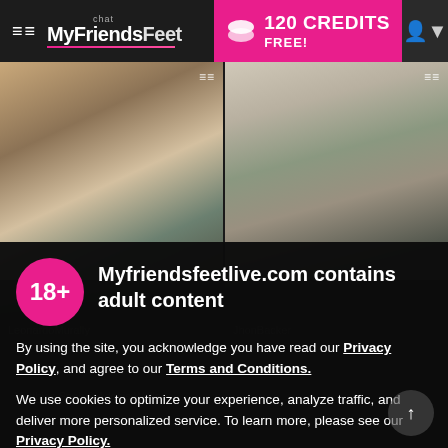MyFriendsFeet chat — 120 CREDITS FREE!
[Figure (screenshot): Two profile photos side by side: left shows a tattooed man in a bathtub, right shows a muscular Black man in a gym wearing a dark tank top. Both have menu icons in top-right corners.]
Myfriendsfeetlive.com contains adult content
By using the site, you acknowledge you have read our Privacy Policy, and agree to our Terms and Conditions.
We use cookies to optimize your experience, analyze traffic, and deliver more personalized service. To learn more, please see our Privacy Policy.
I AGREE